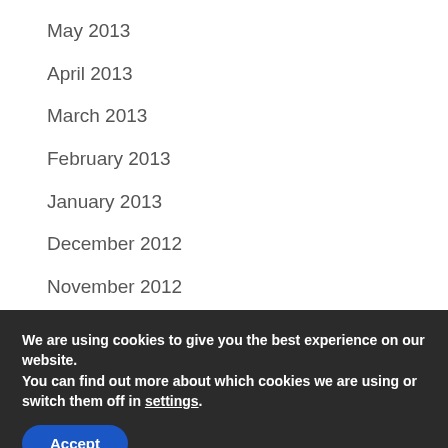May 2013
April 2013
March 2013
February 2013
January 2013
December 2012
November 2012
October 2012
September 2012
August 2012
We are using cookies to give you the best experience on our website.
You can find out more about which cookies we are using or switch them off in settings.
Accept